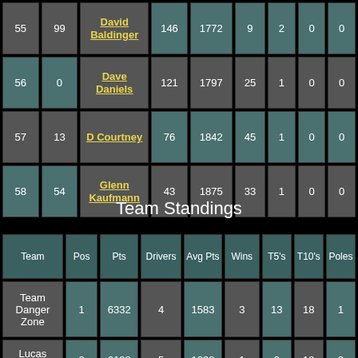| 55 | 99 | David Baldinger | 146 | 1772 | 9 | 2 | 0 | 0 |
| 56 | 0 | Dave Daniels | 121 | 1797 | 25 | 1 | 0 | 0 |
| 57 | 13 | D Courtney | 76 | 1842 | 45 | 1 | 0 | 0 |
| 58 | 54 | Glenn Kaufmann | 43 | 1875 | 33 | 1 | 0 | 0 |
Team Standings
| Team | Pos | Pts | Drivers | Avg Pts | Wins | T5's | T10's | Poles |
| --- | --- | --- | --- | --- | --- | --- | --- | --- |
| Team Danger Zone | 1 | 6332 | 4 | 1583 | 3 | 13 | 18 | 1 |
| Lucas Racing | 2 | 6188 | 5 | 1238 | 1 | 9 | 18 | 2 |